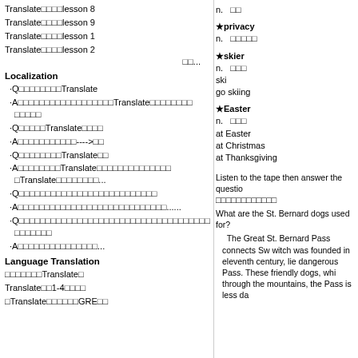Translate□□□□lesson 8
Translate□□□□lesson 9
Translate□□□□lesson 1
Translate□□□□lesson 2
□□...
Localization
·Q□□□□□□□□Translate
·A□□□□□□□□□□□□□□□□□□Translate□□□□□□□□□□□□
·Q□□□□□Translate□□□□
·A□□□□□□□□□□□---->□□
·Q□□□□□□□□Translate□□
·A□□□□□□□□Translate□□□□□□□□□□□□□□□□□Translate□□□□□□□□...
·Q□□□□□□□□□□□□□□□□□□□□□□□□□□
·A□□□□□□□□□□□□□□□□□□□□□□□□□□□□......
·Q□□□□□□□□□□□□□□□□□□□□□□□□□□□□□□□□□□□□□□□□□□□□
·A□□□□□□□□□□□□□□□...
Language Translation
□□□□□□□Translate□
Translate□□1-4□□□□
□Translate□□□□□□GRE□□
n.  □□
★privacy
n.  □□□□□
★skier
n.  □□□
ski
go skiing
★Easter
n.  □□□
at Easter
at Christmas
at Thanksgiving
Listen to the tape then answer the question □□□□□□□□□□□□
What are the St. Bernard dogs used for?
The Great St. Bernard Pass connects Sw witch was founded in eleventh century, lie dangerous Pass. These friendly dogs, whi through the mountains, the Pass is less da